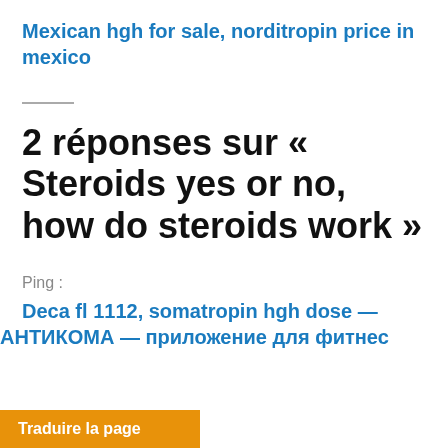Mexican hgh for sale, norditropin price in mexico
2 réponses sur « Steroids yes or no, how do steroids work »
Ping :
Deca fl 1112, somatropin hgh dose — АНТИКОМА — приложение для фитнес
Traduire la page